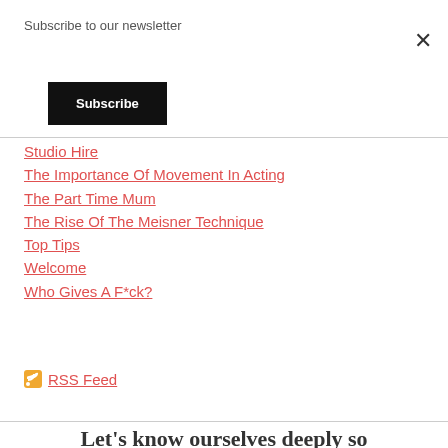Subscribe to our newsletter
Subscribe
×
Studio Hire
The Importance Of Movement In Acting
The Part Time Mum
The Rise Of The Meisner Technique
Top Tips
Welcome
Who Gives A F*ck?
RSS Feed
Let's know ourselves deeply so